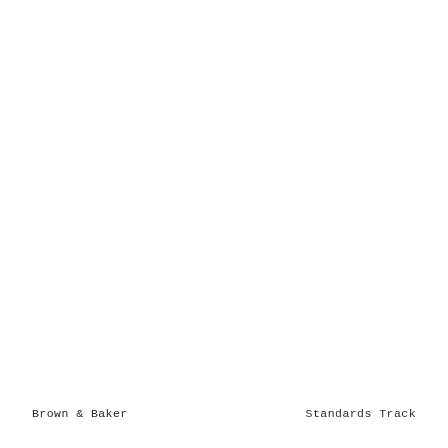Brown & Baker                    Standards Track